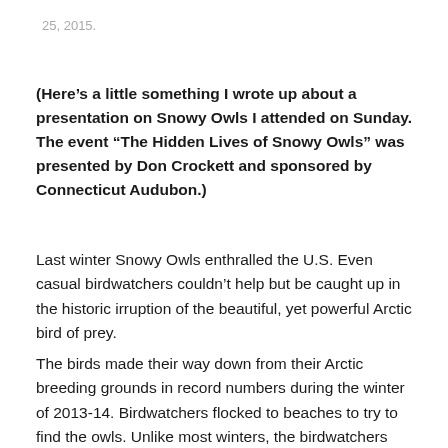25, 2015.
(Here’s a little something I wrote up about a presentation on Snowy Owls I attended on Sunday. The event “The Hidden Lives of Snowy Owls” was presented by Don Crockett and sponsored by Connecticut Audubon.)
Last winter Snowy Owls enthralled the U.S. Even casual birdwatchers couldn’t help but be caught up in the historic irruption of the beautiful, yet powerful Arctic bird of prey.
The birds made their way down from their Arctic breeding grounds in record numbers during the winter of 2013-14. Birdwatchers flocked to beaches to try to find the owls. Unlike most winters, the birdwatchers were often